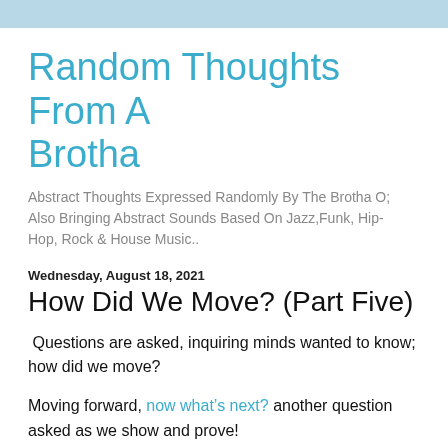Random Thoughts From A Brotha
Abstract Thoughts Expressed Randomly By The Brotha O; Also Bringing Abstract Sounds Based On Jazz,Funk, Hip-Hop, Rock & House Music..
Wednesday, August 18, 2021
How Did We Move? (Part Five)
Questions are asked, inquiring minds wanted to know; how did we move?
Moving forward, now what’s next? another question asked as we show and prove!